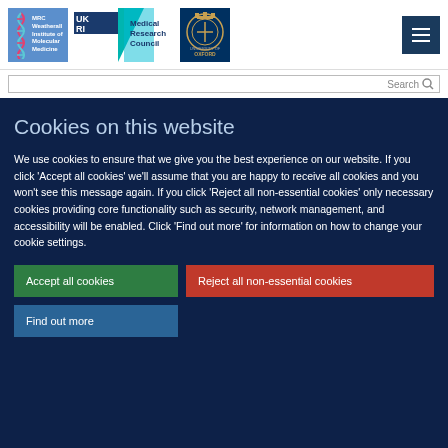[Figure (logo): MRC Weatherall Institute of Molecular Medicine logo with DNA helix icon on blue background]
[Figure (logo): UKRI and Medical Research Council logo with teal triangle graphic]
[Figure (logo): University of Oxford crest on dark blue background]
Cookies on this website
We use cookies to ensure that we give you the best experience on our website. If you click 'Accept all cookies' we'll assume that you are happy to receive all cookies and you won't see this message again. If you click 'Reject all non-essential cookies' only necessary cookies providing core functionality such as security, network management, and accessibility will be enabled. Click 'Find out more' for information on how to change your cookie settings.
Accept all cookies
Reject all non-essential cookies
Find out more